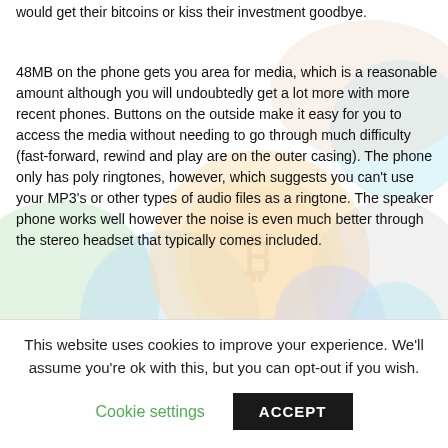would get their bitcoins or kiss their investment goodbye.
[Figure (photo): Background image showing cryptocurrency coins and digital currency logos (bitcoin, ethereum, etc.) with colorful overlapping circles]
48MB on the phone gets you area for media, which is a reasonable amount although you will undoubtedly get a lot more with more recent phones. Buttons on the outside make it easy for you to access the media without needing to go through much difficulty (fast-forward, rewind and play are on the outer casing). The phone only has poly ringtones, however, which suggests you can't use your MP3's or other types of audio files as a ringtone. The speaker phone works well however the noise is even much better through the stereo headset that typically comes included.
A coin sorter is exactly what it sounds like. It is a mechanism that is created to arrange your coins based on their denomination. You will certain save a great deal of time by investing on one on your own, and
This website uses cookies to improve your experience. We'll assume you're ok with this, but you can opt-out if you wish.
Cookie settings    ACCEPT